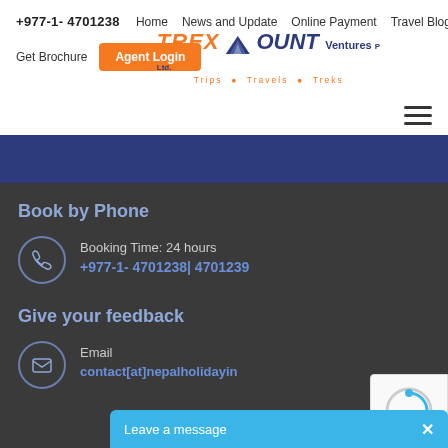+977-1- 4701238  Home  News and Update  Online Payment  Travel Blog
Get Brochure  Agent Login
[Figure (logo): TrexMount Ventures Pvt. Ltd. logo with mountain graphic, tagline Trips Travels Treks]
Book by Phone
Booking Time: 24 hours
+977-1- 4701238| 4701239
Give your feedback
Email
contact[at]nepalholidayin